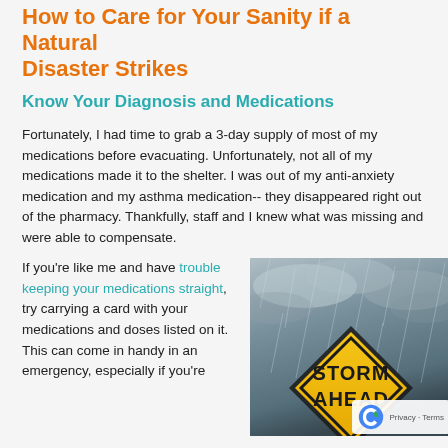How to Care for Your Sanity if a Natural Disaster Strikes
Know Your Diagnosis and Medications
Fortunately, I had time to grab a 3-day supply of most of my medications before evacuating. Unfortunately, not all of my medications made it to the shelter. I was out of my anti-anxiety medication and my asthma medication-- they disappeared right out of the pharmacy. Thankfully, staff and I knew what was missing and were able to compensate.
If you're like me and have trouble keeping your medications straight, try carrying a card with your medications and doses listed on it. This can come in handy in an emergency, especially if you're
[Figure (photo): A yellow diamond-shaped road sign reading 'STORM AHEAD' against a stormy dark grey sky with clouds. A reCAPTCHA privacy badge appears in the bottom right corner.]